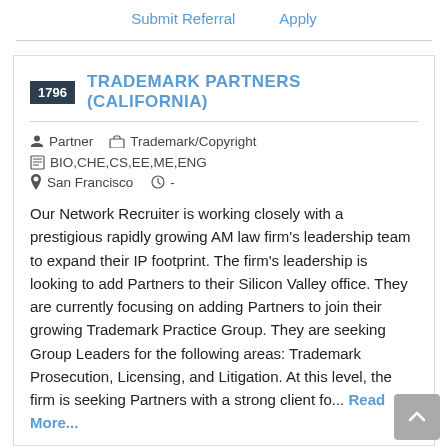Submit Referral    Apply
1796  TRADEMARK PARTNERS (CALIFORNIA)
Partner   Trademark/Copyright   BIO,CHE,CS,EE,ME,ENG
San Francisco   -
Our Network Recruiter is working closely with a prestigious rapidly growing AM law firm's leadership team to expand their IP footprint. The firm's leadership is looking to add Partners to their Silicon Valley office. They are currently focusing on adding Partners to join their growing Trademark Practice Group. They are seeking Group Leaders for the following areas: Trademark Prosecution, Licensing, and Litigation. At this level, the firm is seeking Partners with a strong client fo... Read More...